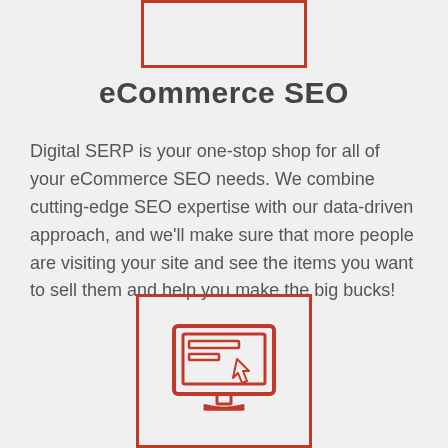[Figure (illustration): Red-bordered rectangle partially visible at top of page (icon placeholder)]
eCommerce SEO
Digital SERP is your one-stop shop for all of your eCommerce SEO needs. We combine cutting-edge SEO expertise with our data-driven approach, and we'll make sure that more people are visiting your site and see the items you want to sell them and help you make the big bucks!
[Figure (illustration): Red-bordered rectangle containing a monitor/computer screen icon drawn in red outline style]